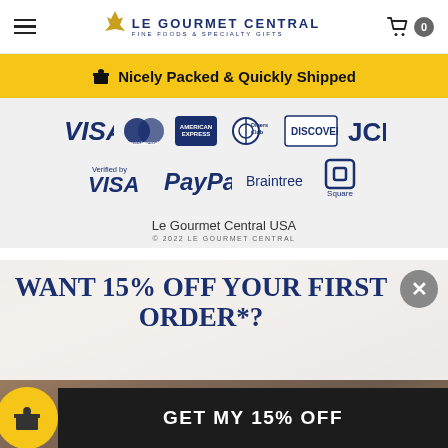LE GOURMET CENTRAL FINE FOODS & SPECIALTY GIFTS
Nicely Packed & Quickly Shipped
[Figure (logo): Payment method logos: VISA, Mastercard, American Express, Diners Club, Discover, JCB, Verified by VISA, PayPal, Braintree, Square]
Le Gourmet Central USA
© 2022 LE GOURMET CENTRAL
WANT 15% OFF YOUR FIRST ORDER*?
GET MY 15% OFF